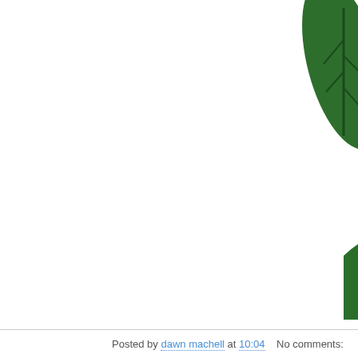[Figure (illustration): Cartoon illustration of a pink snail with a red spiral shell and antenna, sitting on or near a green crocodile/alligator with pink polka dots and yellow spikes. A green leaf is visible at the top right. The copyright text reads '©Dawn Mache' in pink handwritten style font at the bottom of the illustration.]
Posted by dawn machell at 10:04   No comments: